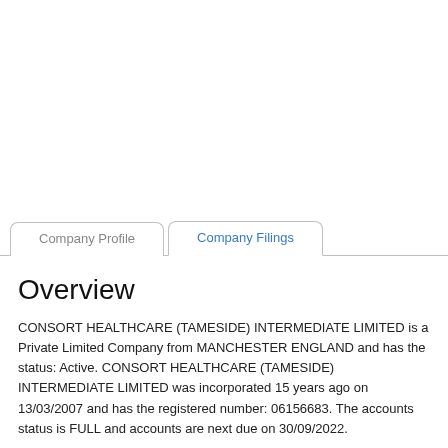Company Profile | Company Filings
Overview
CONSORT HEALTHCARE (TAMESIDE) INTERMEDIATE LIMITED is a Private Limited Company from MANCHESTER ENGLAND and has the status: Active. CONSORT HEALTHCARE (TAMESIDE) INTERMEDIATE LIMITED was incorporated 15 years ago on 13/03/2007 and has the registered number: 06156683. The accounts status is FULL and accounts are next due on 30/09/2022.